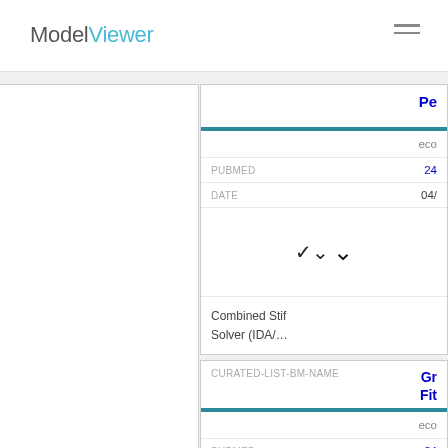ModelViewer
|  | Pe... |
| --- | --- |
|  | eco... |
| PUBMED | 24... |
| DATE | 04/... |
|  | Combined Stif... Solver (IDA/... |
| CURATED-LIST-BM-NAME | Gr... Fit... |
| --- | --- |
|  | eco... |
| PUBMED | 24... |